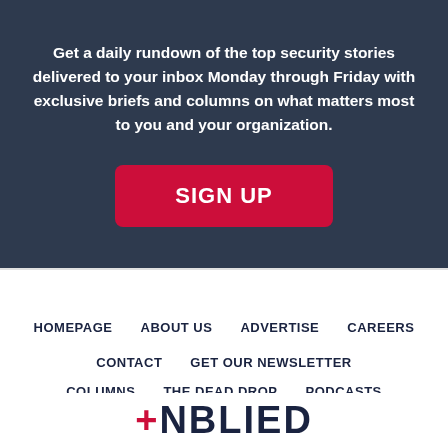Get a daily rundown of the top security stories delivered to your inbox Monday through Friday with exclusive briefs and columns on what matters most to you and your organization.
SIGN UP
HOMEPAGE
ABOUT US
ADVERTISE
CAREERS
CONTACT
GET OUR NEWSLETTER
COLUMNS
THE DEAD DROP
PODCASTS
+NBLIED